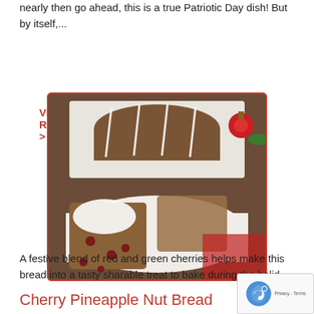nearly then go ahead, this is a true Patriotic Day dish! But by itself,...
View Recipe >
[Figure (photo): Photo of cherry pineapple nut bread slices on white plates with cream cheese spread, drizzled with white icing, holiday decorations in background]
Cherry Pineapple Nut Bread
A festive blend of red and green cherries helps ma... bread into a tasty sharable treat to bake during the... holid...